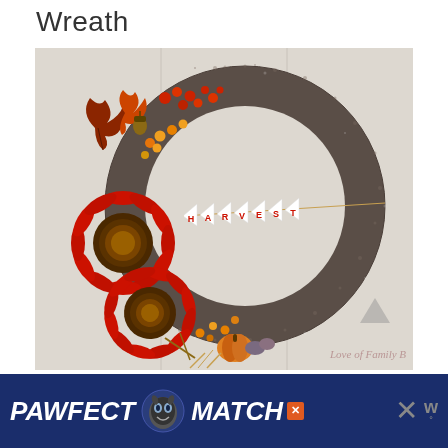Wreath
[Figure (photo): A fall harvest wreath made of dark gray yarn wrapped around a circular foam form. The left side is decorated with red sunflowers, autumn leaves, acorns, orange and yellow berries, and a small white pennant banner spelling out HARVEST in red letters. A watermark reads 'Love of Family B'.]
[Figure (screenshot): Advertisement banner for 'PAWFECT MATCH' in white bold italic text on a dark blue background, with a cat face logo in the center and a close X button on the right side with a 'w' superscript logo.]